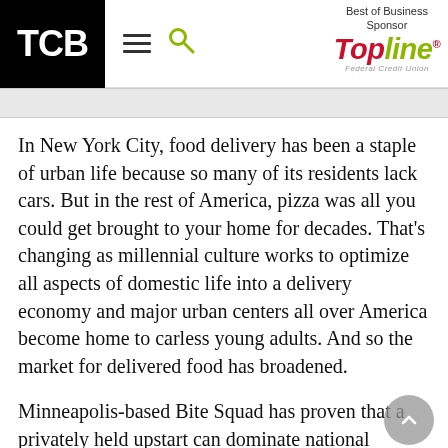TCB | Best of Business Sponsor TopLine Federal Credit Union
In New York City, food delivery has been a staple of urban life because so many of its residents lack cars. But in the rest of America, pizza was all you could get brought to your home for decades. That's changing as millennial culture works to optimize all aspects of domestic life into a delivery economy and major urban centers all over America become home to carless young adults. And so the market for delivered food has broadened.
Minneapolis-based Bite Squad has proven that a privately held upstart can dominate national players